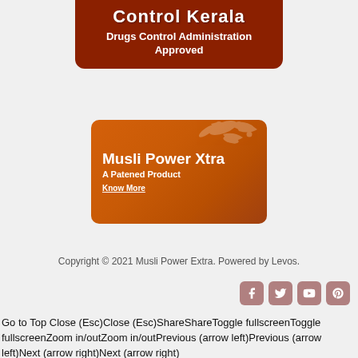[Figure (infographic): Dark red rounded banner with text 'Drugs Control Administration Approved' on dark red background]
[Figure (infographic): Orange banner for 'Musli Power Xtra - A Patened Product' with floral decoration and 'Know More' link]
Copyright © 2021 Musli Power Extra. Powered by Levos.
Go to Top Close (Esc)Close (Esc)ShareShareToggle fullscreenToggle fullscreenZoom in/outZoom in/outPrevious (arrow left)Previous (arrow left)Next (arrow right)Next (arrow right)